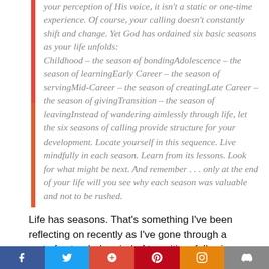your calling is rooted in your relationship with God and your perception of His voice, it isn't a static or one-time experience. Of course, your calling doesn't constantly shift and change. Yet God has ordained six basic seasons as your life unfolds: Childhood – the season of bondingAdolescence – the season of learningEarly Career – the season of servingMid-Career – the season of creatingLate Career – the season of givingTransition – the season of leavingInstead of wandering aimlessly through life, let the six seasons of calling provide structure for your development. Locate yourself in this sequence. Live mindfully in each season. Learn from its lessons. Look for what might be next. And remember . . . only at the end of your life will you see why each season was valuable and not to be rushed.
Life has seasons. That's something I've been reflecting on recently as I've gone through a sort of extended period of transition, following God and figuring out what the next steps